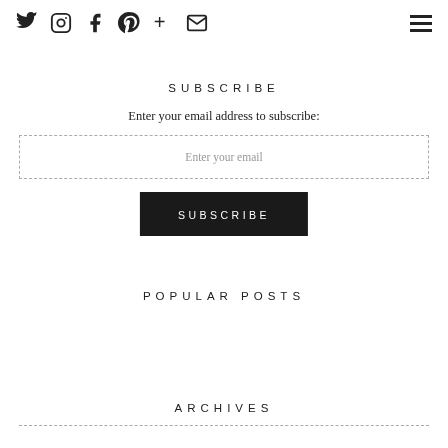Social icons: Twitter, Instagram, Facebook, Pinterest, Google+, Email — Hamburger menu
SUBSCRIBE
Enter your email address to subscribe:
Enter your email
SUBSCRIBE
POPULAR POSTS
ARCHIVES